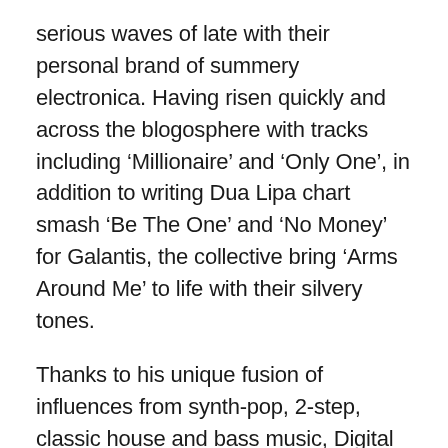serious waves of late with their personal brand of summery electronica. Having risen quickly and across the blogosphere with tracks including 'Millionaire' and 'Only One', in addition to writing Dua Lipa chart smash 'Be The One' and 'No Money' for Galantis, the collective bring 'Arms Around Me' to life with their silvery tones.
Thanks to his unique fusion of influences from synth-pop, 2-step, classic house and bass music, Digital Farm Animals have made a name for themselves across dance music's most notable barometers as producers, songwriters and vocalists.